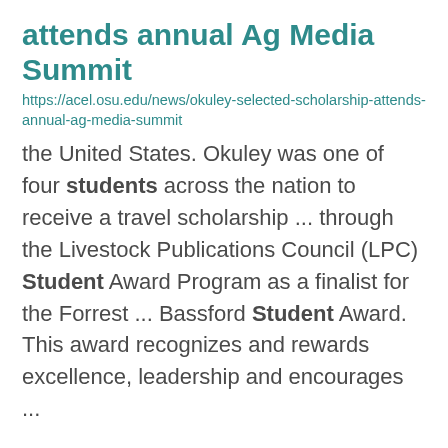attends annual Ag Media Summit
https://acel.osu.edu/news/okuley-selected-scholarship-attends-annual-ag-media-summit
the United States. Okuley was one of four students across the nation to receive a travel scholarship ... through the Livestock Publications Council (LPC) Student Award Program as a finalist for the Forrest ... Bassford Student Award. This award recognizes and rewards excellence, leadership and encourages ...
Welcome Back Picnic
https://grad.cfaes.ohio-state.edu/events/welcome-back-picnic